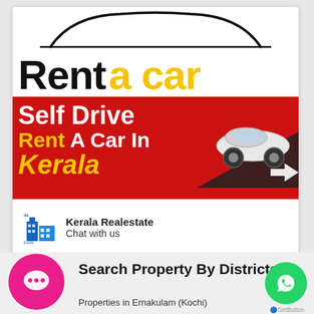[Figure (illustration): Car rental advertisement card with car silhouette at top, bold 'Rent a car' heading in black and yellow, red banner with 'Self Drive Rent A Car In Kerala' text, and a white car image on the right side]
Kerala Realestate
Chat with us
Search Property By Districts
Properties in Ernakulam (Kochi)
GetButton